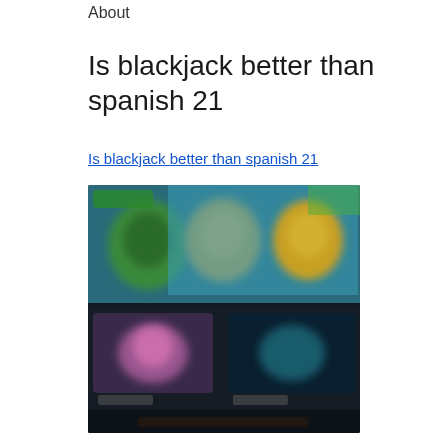About
Is blackjack better than spanish 21
Is blackjack better than spanish 21
[Figure (photo): Blurred screenshot of a gaming/casino interface showing colorful characters and game thumbnails on a dark background]